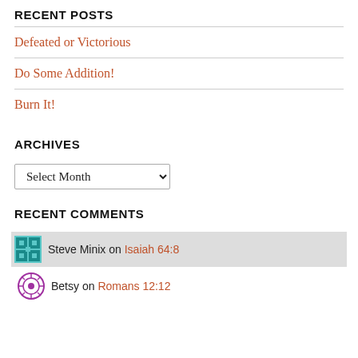RECENT POSTS
Defeated or Victorious
Do Some Addition!
Burn It!
ARCHIVES
Select Month (dropdown)
RECENT COMMENTS
Steve Minix on Isaiah 64:8
Betsy on Romans 12:12